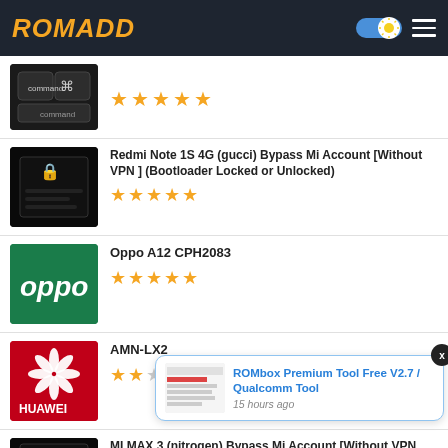ROMADD
[Figure (screenshot): Command key keyboard image with star rating (5 stars)]
[Figure (screenshot): Locked device screen image]
Redmi Note 1S 4G (gucci) Bypass Mi Account [Without VPN ] (Bootloader Locked or Unlocked)
[Figure (logo): Oppo green logo]
Oppo A12 CPH2083
[Figure (logo): Huawei red logo]
AMN-LX2
[Figure (screenshot): ROMbox Premium Tool popup notification - ROMbox Premium Tool Free V2.7 / Qualcomm Tool, 15 hours ago]
[Figure (screenshot): Locked device screen partial]
MI MAX 3 (nitrogen) Bypass Mi Account [Without VPN Just Flashing] (Bootloader Locked or Unlocked) MIUI